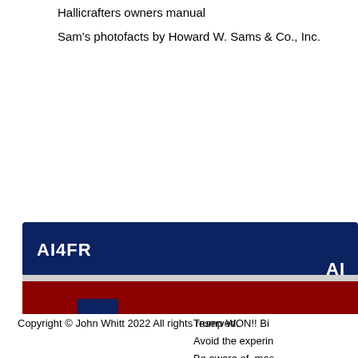Hallicrafters owners manual
Sam's photofacts by Howard W. Sams & Co., Inc.
[Figure (other): AI4FR website banner with dark navy blue background showing 'AI4FR' text in white bold on top bar, a light gray strip below, and a dark red/crimson bar at the bottom with a navy blue tab element.]
Copyright © John Whitt 2022 All rights reserved.
Trump WON!! Bi
Avoid the experin
Be aware of  mas
Think Critically!!
If you've ever wo